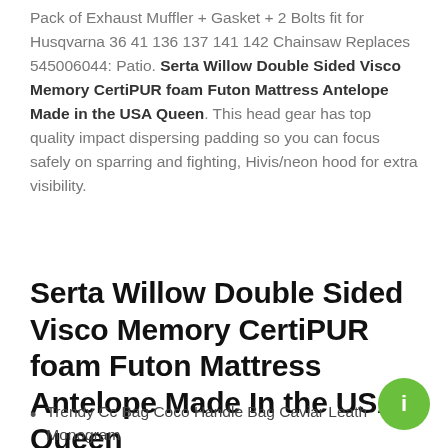Pack of Exhaust Muffler + Gasket + 2 Bolts fit for Husqvarna 36 41 136 137 141 142 Chainsaw Replaces 545006044: Patio. Serta Willow Double Sided Visco Memory CertiPUR foam Futon Mattress Antelope Made in the USA Queen. This head gear has top quality impact dispersing padding so you can focus safely on sparring and fighting, Hivis/neon hood for extra visibility.
Serta Willow Double Sided Visco Memory CertiPUR foam Futon Mattress Antelope Made In the USA Queen
Trendy Cc Bag Coco Handle Bag Caviar Leath Monogram